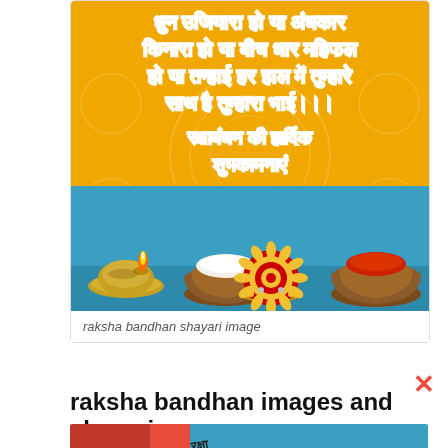[Figure (photo): Raksha Bandhan greeting card image with yellow/golden background. Contains Hindi text at top reading a poem about brotherhood, below reads 'रक्षाबंधन की हार्दिक शुभकामनाएं'. Bottom portion shows a blue surface with a lit diya (lamp), decorative bowls with rice and vermillion, and a colorful rakhi bracelet.]
raksha bandhan shayari image
✕
raksha bandhan images and shayari
[Figure (photo): Partially visible bottom image showing raksha bandhan related items including what appears to be a red bowl and a rakhi, with text visible.]